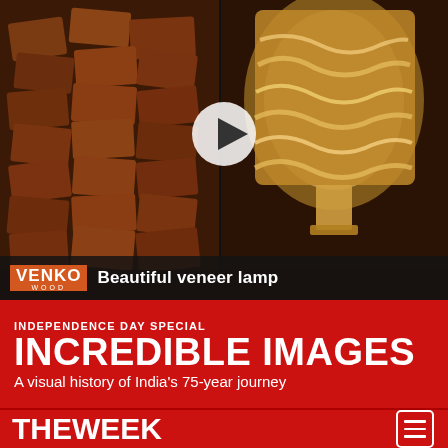[Figure (screenshot): Video thumbnail showing stacked firewood logs on the left half and a glowing wooden veneer lamp on the right half, with a play button overlay in the center. Dark background.]
VENKO wood — Beautiful veneer lamp
INDEPENDENCE DAY SPECIAL
INCREDIBLE IMAGES
A visual history of India's 75-year journey
[Figure (logo): THE WEEK logo in white on red background, with hamburger menu icon (three horizontal lines in a square) on the right]